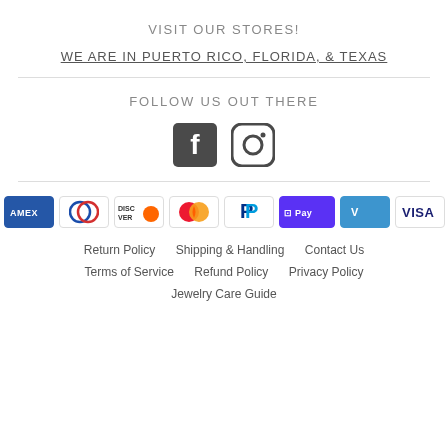VISIT OUR STORES!
WE ARE IN PUERTO RICO, FLORIDA, & TEXAS
FOLLOW US OUT THERE
[Figure (illustration): Facebook and Instagram social media icons]
[Figure (illustration): Payment method logos: American Express, Diners Club, Discover, Mastercard, PayPal, Shop Pay, Venmo, Visa]
Return Policy   Shipping & Handling   Contact Us
Terms of Service   Refund Policy   Privacy Policy
Jewelry Care Guide